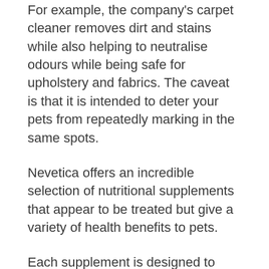For example, the company's carpet cleaner removes dirt and stains while also helping to neutralise odours while being safe for upholstery and fabrics. The caveat is that it is intended to deter your pets from repeatedly marking in the same spots.
Nevetica offers an incredible selection of nutritional supplements that appear to be treated but give a variety of health benefits to pets.
Each supplement is designed to address a specific requirement in a pet, such as supporting hip and joint health.
The company is now in the pre-launch phase and is looking for advisors and sales representatives. It is expected to make its official debut in 2019.
If you sign up to be a distributor on the company's website, you will be able to learn more about its